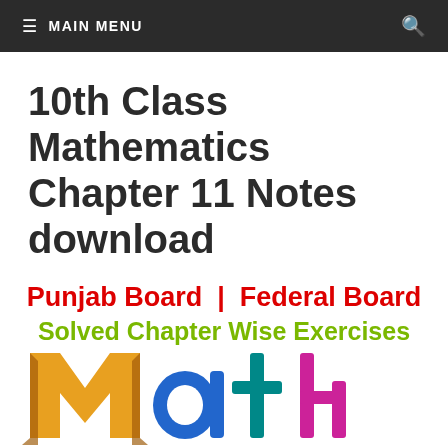≡ MAIN MENU
10th Class Mathematics Chapter 11 Notes download
Punjab Board | Federal Board
Solved Chapter Wise Exercises
[Figure (illustration): Colorful 3D MATH letters in orange, blue, teal, and pink at the bottom of the page]